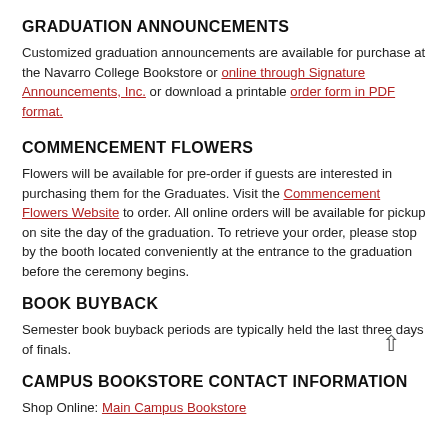GRADUATION ANNOUNCEMENTS
Customized graduation announcements are available for purchase at the Navarro College Bookstore or online through Signature Announcements, Inc. or download a printable order form in PDF format.
COMMENCEMENT FLOWERS
Flowers will be available for pre-order if guests are interested in purchasing them for the Graduates. Visit the Commencement Flowers Website to order. All online orders will be available for pickup on site the day of the graduation. To retrieve your order, please stop by the booth located conveniently at the entrance to the graduation before the ceremony begins.
BOOK BUYBACK
Semester book buyback periods are typically held the last three days of finals.
CAMPUS BOOKSTORE CONTACT INFORMATION
Shop Online: Main Campus Bookstore